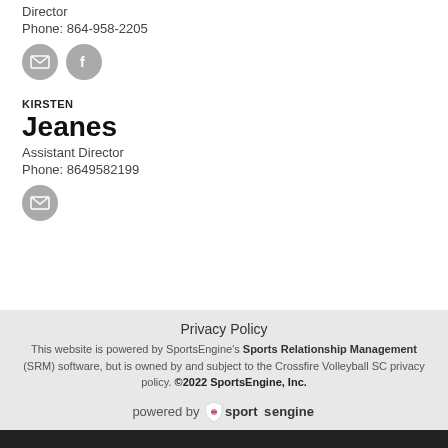Director
Phone: 864-958-2205
[Figure (other): Email icon (envelope) and Facebook icon, both in grey circles]
KIRSTEN
Jeanes
Assistant Director
Phone: 8649582199
[Figure (other): Email icon (envelope) in grey circle]
Privacy Policy
This website is powered by SportsEngine's Sports Relationship Management (SRM) software, but is owned by and subject to the Crossfire Volleyball SC privacy policy. ©2022 SportsEngine, Inc.
[Figure (logo): powered by sportsengine logo with shield icon]